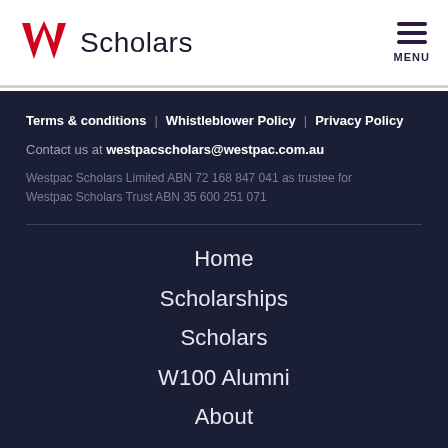Westpac Scholars | MENU
Terms & conditions | Whistleblower Policy | Privacy Policy
Contact us at westpacscholars@westpac.com.au
Westpac Scholars Limited ABN 72 168 847 041 as trustee for Westpac Scholars Trust ABN 35 600 251 071
Home
Scholarships
Scholars
W100 Alumni
About
News
SiteMap